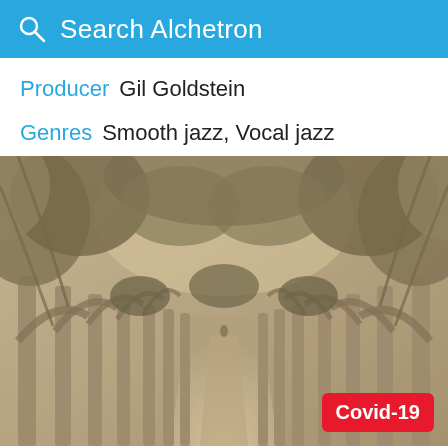Search Alchetron
Producer  Gil Goldstein
Genres  Smooth jazz, Vocal jazz
[Figure (photo): Sepia-toned vintage photograph of a garden pergola walkway with stone columns, arched trellises covered in climbing plants and palm fronds, with a long perspective path leading into the distance.]
Covid-19